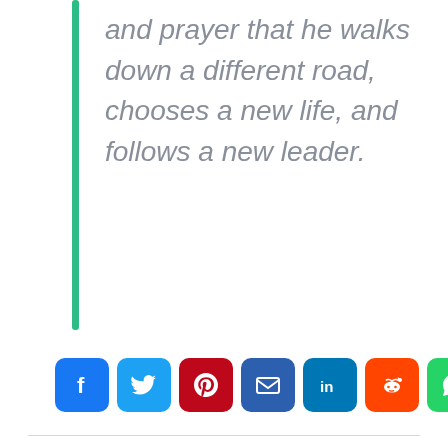and prayer that he walks down a different road, chooses a new life, and follows a new leader.
[Figure (infographic): Social media sharing buttons: Facebook, Twitter, Pinterest, Email, LinkedIn, Reddit, WhatsApp, Link, Share]